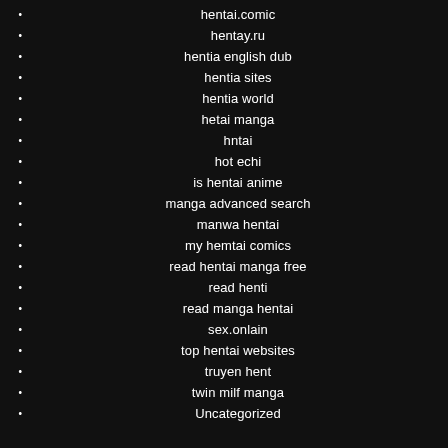hentai.comic
hentay.ru
hentia english dub
hentia sites
hentia world
hetai manga
hntai
hot echi
is hentai anime
manga advanced search
manwa hentai
my hemtai comics
read hentai manga free
read henti
read manga hentai
sex.onlain
top hentai websites
truyen hent
twin milf manga
Uncategorized